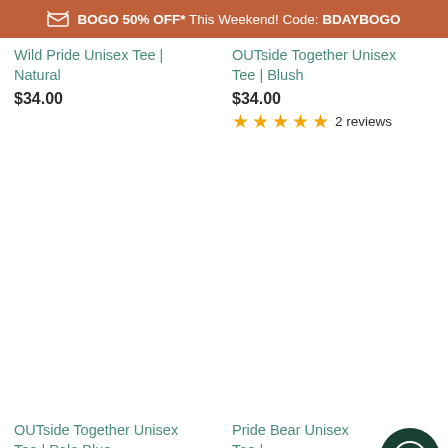BOGO 50% OFF* This Weekend! Code: BDAYBOGO
Wild Pride Unisex Tee | Natural
$34.00
OUTside Together Unisex Tee | Blush
$34.00
2 reviews
OUTside Together Unisex Tee | Pale Blue
Pride Bear Unisex Tee | Coal